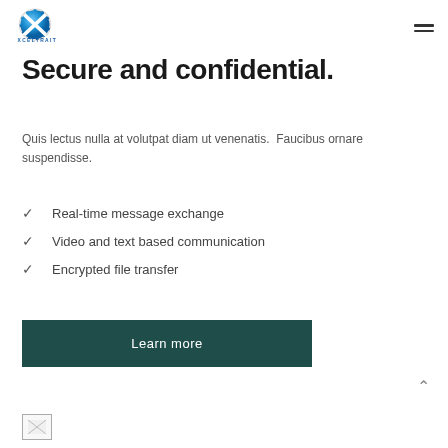XCELTRAIT
Secure and confidential.
Quis lectus nulla at volutpat diam ut venenatis. Faucibus ornare suspendisse.
Real-time message exchange
Video and text based communication
Encrypted file transfer
Learn more
[Figure (logo): Small broken image icon at bottom left]